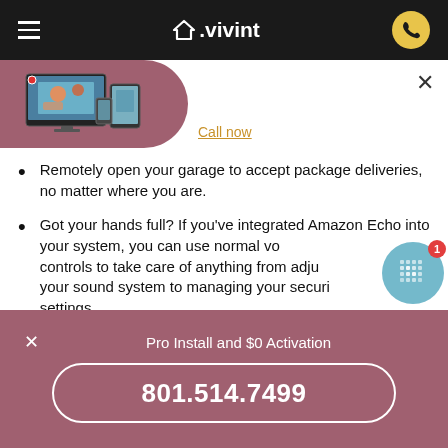Vivint navigation bar with hamburger menu, Vivint logo, and phone button
[Figure (screenshot): Vivint smart home devices including monitor, tablet, and phone on a pink/mauve background with Call now link and close X button]
Remotely open your garage to accept package deliveries, no matter where you are.
Got your hands full? If you've integrated Amazon Echo into your system, you can use normal voice controls to take care of anything from adjusting your sound system to managing your security settings.
Enjoy more features and convenience with the Vivint...
Pro Install and $0 Activation
801.514.7499